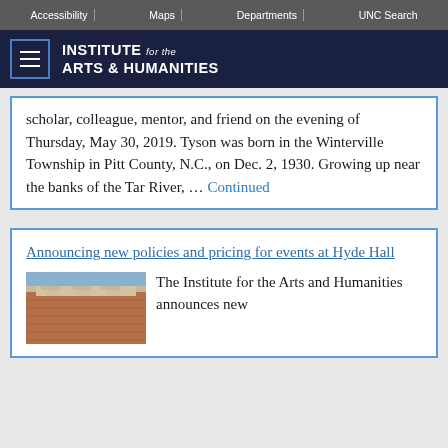Accessibility | Maps | Departments | UNC Search
INSTITUTE for the ARTS & HUMANITIES
scholar, colleague, mentor, and friend on the evening of Thursday, May 30, 2019. Tyson was born in the Winterville Township in Pitt County, N.C., on Dec. 2, 1930. Growing up near the banks of the Tar River, ... Continued
Announcing new policies and pricing for events at Hyde Hall
The Institute for the Arts and Humanities announces new
[Figure (photo): Exterior architectural detail of a brick building with decorative stonework]